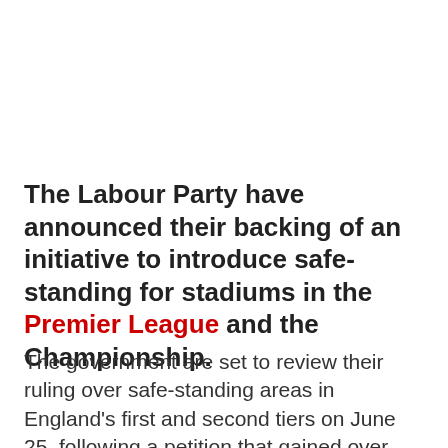The Labour Party have announced their backing of an initiative to introduce safe-standing for stadiums in the Premier League and the Championship.
The government are set to review their ruling over safe-standing areas in England's first and second tiers on June 25, following a petition that gained over 100,000 signatures.